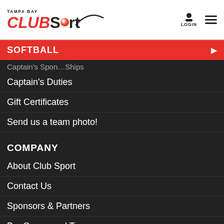Tampa Bay CLUBSport — LOGIN and menu
SOFTBALL
Captain's Duties
Gift Certificates
Send us a team photo!
COMPANY
About Club Sport
Contact Us
Sponsors & Partners
Bar Sponsored Teams
Meet our Great Staff
Work for Club Sport
Sponsorship Info
Testimonials & Press